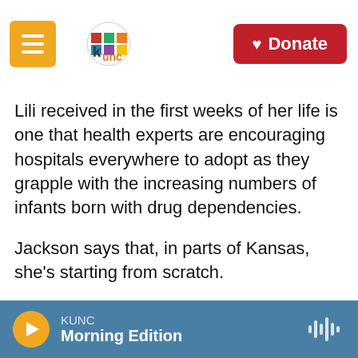KUNC | Donate
Lili received in the first weeks of her life is one that health experts are encouraging hospitals everywhere to adopt as they grapple with the increasing numbers of infants born with drug dependencies.
Jackson says that, in parts of Kansas, she's starting from scratch.
"Many hospitals have no standard of practice. No standard approach," she says.
But improving outcomes for opioid-dependent
KUNC Morning Edition